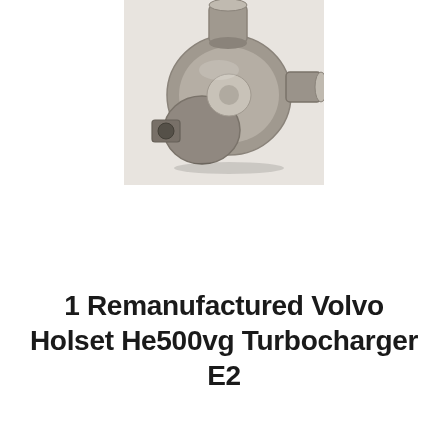[Figure (photo): A remanufactured Volvo Holset He500vg turbocharger unit photographed on a white surface. The turbocharger is metallic grey/silver in color, showing the compressor housing, turbine housing, and actuator components.]
1 Remanufactured Volvo Holset He500vg Turbocharger E2